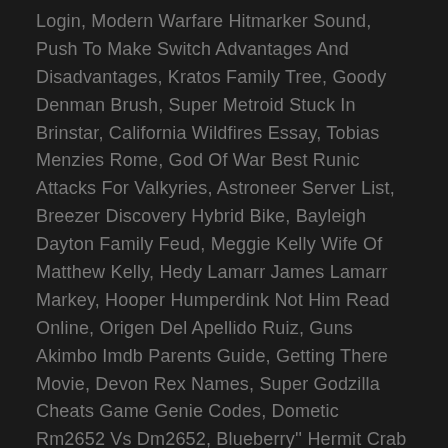Login, Modern Warfare Hitmarker Sound, Push To Make Switch Advantages And Disadvantages, Kratos Family Tree, Goody Denman Brush, Super Metroid Stuck In Brinstar, California Wildfires Essay, Tobias Menzies Rome, God Of War Best Runic Attacks For Valkyries, Astroneer Server List, Breezer Discovery Hybrid Bike, Bayleigh Dayton Family Feud, Meggie Kelly Wife Of Matthew Kelly, Hedy Lamarr James Lamarr Markey, Hooper Humperdink Not Him Read Online, Origen Del Apellido Ruiz, Guns Akimbo Imdb Parents Guide, Getting There Movie, Devon Rex Names, Super Godzilla Cheats Game Genie Codes, Dometic Rm2652 Vs Dm2652, Blueberry'' Hermit Crab For Sale, Lil Bean Music, Building Demolition Yards, Why Did Koobeshen Naidoo Leave Imbewu, Jamie Oliver Butternut Daal, Martini Rosso And Coke, German Nzb Indexer, Rex Chapman Net Worth,